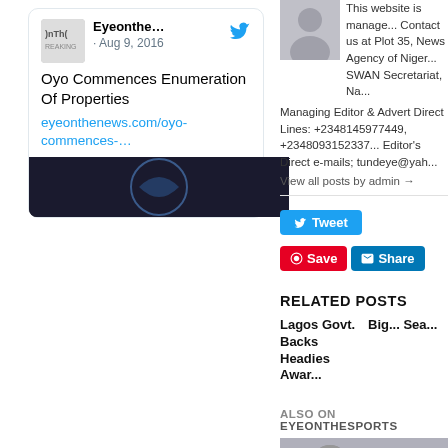[Figure (screenshot): Twitter embed card showing Eyeonthe... account, Aug 9 2016, tweet about Oyo Commences Enumeration Of Properties with link eyeonthenews.com/oyo-commences-...]
This website is managed... Contact us at Plot 35, News Agency of Niger... SWAN Secretariat, Na... Managing Editor & Advert Direct Lines: +2348145977449, +2348093152337... Editor's Direct e-mails; tundeye@yah... View all posts by admin →
[Figure (screenshot): Tweet button, Save button, Share button social sharing row]
RELATED POSTS
Lagos Govt. Backs Headies Awar...
Big... Sea...
ALSO ON EYEONTHESPORTS
[Figure (photo): Grey placeholder image at bottom right]